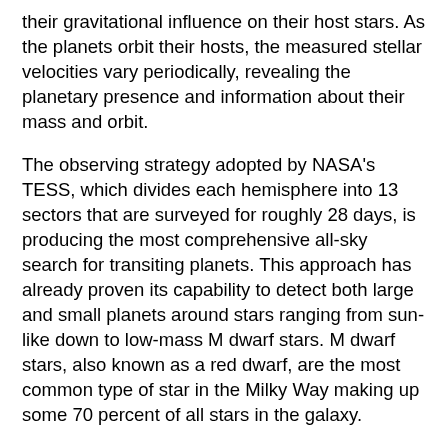their gravitational influence on their host stars. As the planets orbit their hosts, the measured stellar velocities vary periodically, revealing the planetary presence and information about their mass and orbit.
The observing strategy adopted by NASA's TESS, which divides each hemisphere into 13 sectors that are surveyed for roughly 28 days, is producing the most comprehensive all-sky search for transiting planets. This approach has already proven its capability to detect both large and small planets around stars ranging from sun-like down to low-mass M dwarf stars. M dwarf stars, also known as a red dwarf, are the most common type of star in the Milky Way making up some 70 percent of all stars in the galaxy.
M dwarfs are smaller and possess a fraction of the sun's mass and have low luminosity. Because an M dwarf is smaller, when a planet of a given size transits the star, the amount of light that is blocked out by the planet is larger, making the transit more easily detectable. Imagine an Earth-like planet passing in front of a star the size of the sun, it's going to block out a tiny bit of light; but if it's passing in front